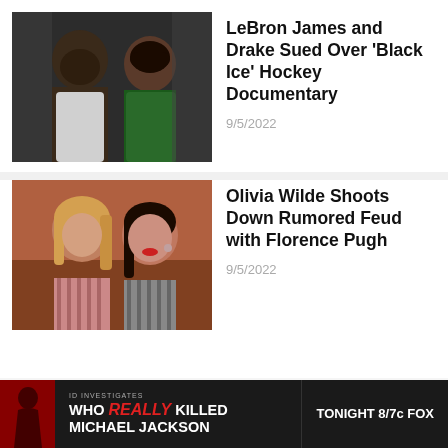[Figure (photo): Photo of LeBron James and Drake side by side at an event]
LeBron James and Drake Sued Over 'Black Ice' Hockey Documentary
9/5/2022
[Figure (photo): Photo of Olivia Wilde and Florence Pugh side by side]
Olivia Wilde Shoots Down Rumored Feud with Florence Pugh
9/5/2022
[Figure (other): Advertisement banner: 'WHO REALLY KILLED MICHAEL JACKSON' — TONIGHT 8/7c FOX]